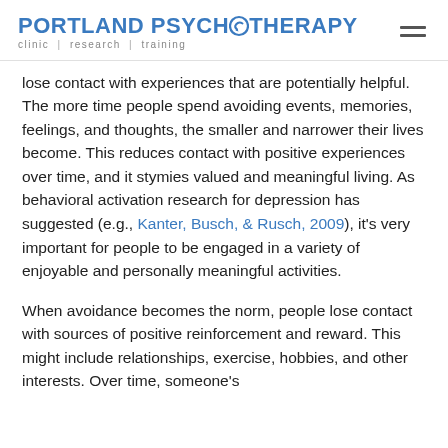PORTLAND PSYCHOTHERAPY clinic | research | training
lose contact with experiences that are potentially helpful. The more time people spend avoiding events, memories, feelings, and thoughts, the smaller and narrower their lives become. This reduces contact with positive experiences over time, and it stymies valued and meaningful living. As behavioral activation research for depression has suggested (e.g., Kanter, Busch, & Rusch, 2009), it's very important for people to be engaged in a variety of enjoyable and personally meaningful activities.
When avoidance becomes the norm, people lose contact with sources of positive reinforcement and reward. This might include relationships, exercise, hobbies, and other interests. Over time, someone's